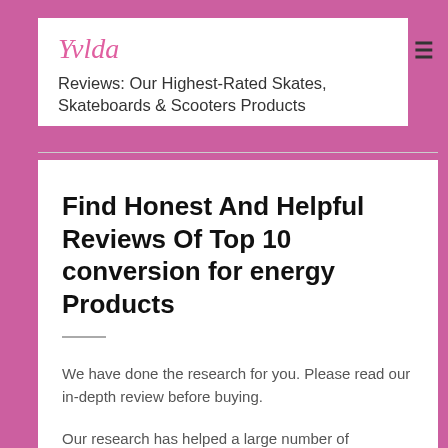Yvlda
Reviews: Our Highest-Rated Skates, Skateboards & Scooters Products
Find Honest And Helpful Reviews Of Top 10 conversion for energy Products
We have done the research for you. Please read our in-depth review before buying.
Our research has helped a large number of